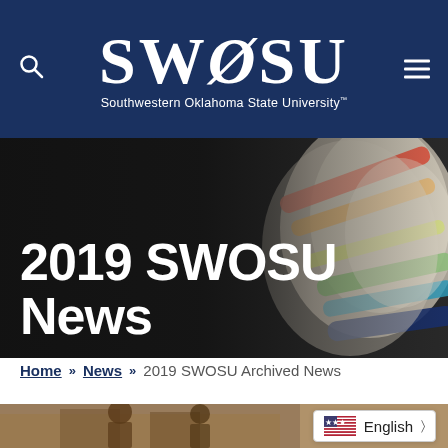SWOSU — Southwestern Oklahoma State University
[Figure (photo): Rolled/stacked colorful newspapers close-up photo used as hero banner background]
2019 SWOSU News
Home » News » 2019 SWOSU Archived News
[Figure (photo): Partial photo of people in an indoor setting, bottom of page]